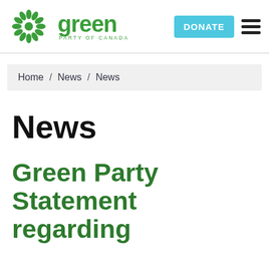[Figure (logo): Green Party of Canada logo: green sunflower/leaf mandala icon with 'green' in large bold green text and 'PARTY OF CANADA' in small green letters below]
DONATE
Home / News / News
News
Green Party Statement regarding